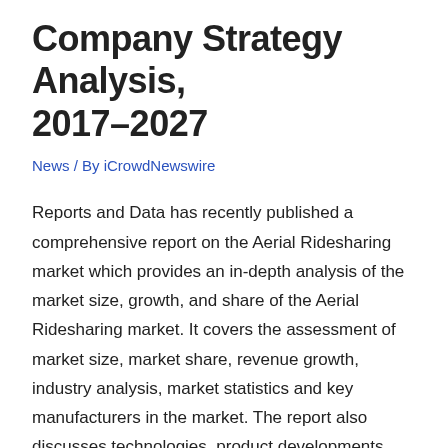Company Strategy Analysis, 2017–2027
News / By iCrowdNewswire
Reports and Data has recently published a comprehensive report on the Aerial Ridesharing market which provides an in-depth analysis of the market size, growth, and share of the Aerial Ridesharing market. It covers the assessment of market size, market share, revenue growth, industry analysis, market statistics and key manufacturers in the market. The report also discusses technologies, product developments, key trends, market drivers and restraints, challenges, and opportunities. The information offered by the report gives an idea about the scope, potential and profitability of the market. The aim of this report is to provide beneficial information to clients, market players, and stakeholders and assist them in making fruitful business decisions according